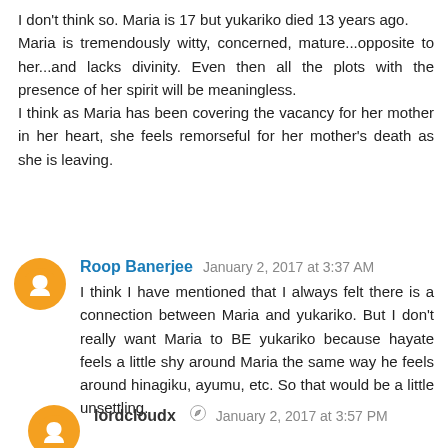I don't think so. Maria is 17 but yukariko died 13 years ago.
Maria is tremendously witty, concerned, mature...opposite to her...and lacks divinity. Even then all the plots with the presence of her spirit will be meaningless.
I think as Maria has been covering the vacancy for her mother in her heart, she feels remorseful for her mother's death as she is leaving.
Roop Banerjee  January 2, 2017 at 3:37 AM
I think I have mentioned that I always felt there is a connection between Maria and yukariko. But I don't really want Maria to BE yukariko because hayate feels a little shy around Maria the same way he feels around hinagiku, ayumu, etc. So that would be a little unsettling.
lordcloudx  January 2, 2017 at 3:57 PM